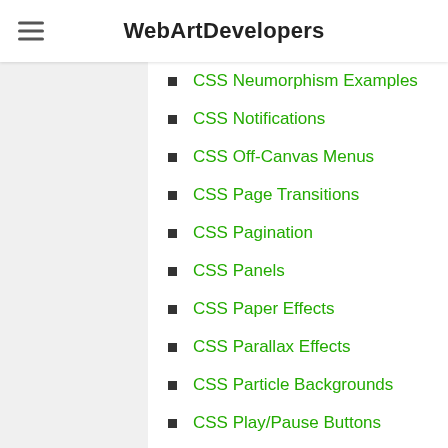WebArtDevelopers
CSS Neumorphism Examples
CSS Notifications
CSS Off-Canvas Menus
CSS Page Transitions
CSS Pagination
CSS Panels
CSS Paper Effects
CSS Parallax Effects
CSS Particle Backgrounds
CSS Play/Pause Buttons
CSS Progress Bars
CSS Radio Buttons
CSS Range Sliders
CSS Ribbons
CSS Ripple Effects